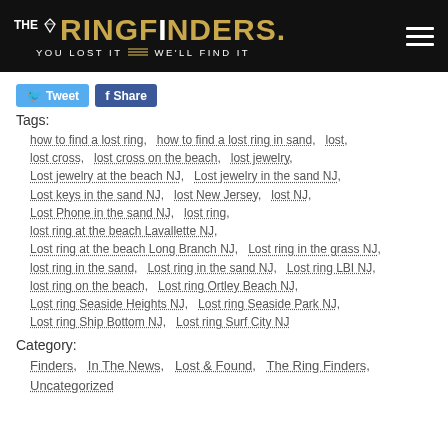THE RINGFINDERS. YOU LOST IT WE'LL FIND IT
Tweet   Share
Tags:
how to find a lost ring,  how to find a lost ring in sand,  lost,  lost cross,  lost cross on the beach,  lost jewelry,  Lost jewelry at the beach NJ,  Lost jewelry in the sand NJ,  Lost keys in the sand NJ,  lost New Jersey,  lost NJ,  Lost Phone in the sand NJ,  lost ring,  lost ring at the beach Lavallette NJ,  Lost ring at the beach Long Branch NJ,  Lost ring in the grass NJ,  lost ring in the sand,  Lost ring in the sand NJ,  Lost ring LBI NJ,  lost ring on the beach,  Lost ring Ortley Beach NJ,  Lost ring Seaside Heights NJ,  Lost ring Seaside Park NJ,  Lost ring Ship Bottom NJ,  Lost ring Surf City NJ
Category:
Finders,  In The News,  Lost & Found,  The Ring Finders,  Uncategorized